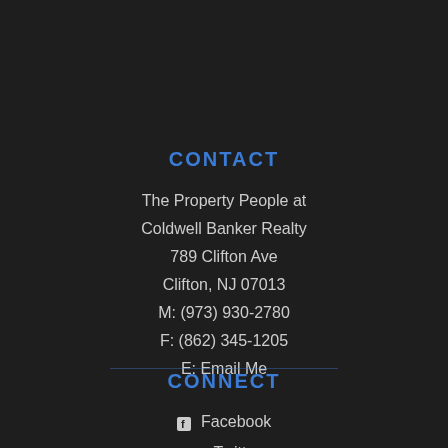CONTACT
The Property People at
Coldwell Banker Realty
789 Clifton Ave
Clifton, NJ 07013
M: (973) 930-2780
F: (862) 345-1205
E: Email Me
CONNECT
Facebook
Twitter